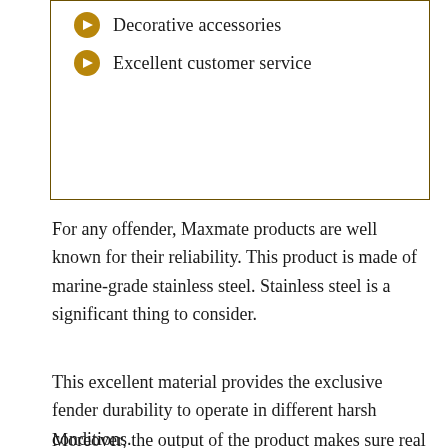Decorative accessories
Excellent customer service
For any offender, Maxmate products are well known for their reliability. This product is made of marine-grade stainless steel. Stainless steel is a significant thing to consider.
This excellent material provides the exclusive fender durability to operate in different harsh conditions.
Moreover, the output of the product makes sure real strength and endurance.
The manufacturer also considers some